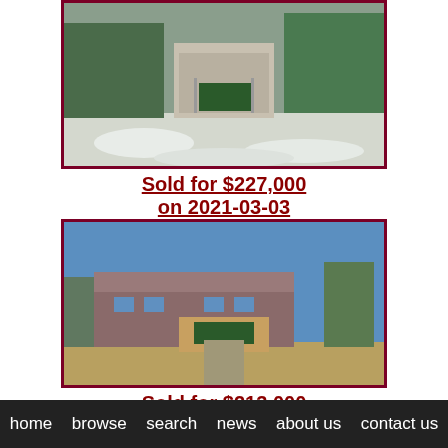[Figure (photo): Exterior photo of a property with a sign, snow on the ground, trees in background, bordered in dark red]
Sold for $227,000
on 2021-03-03
[Figure (photo): Exterior photo of an apartment complex with brick entry sign and bare trees, blue sky, bordered in dark red]
Sold for $213,000
on 2021-02-12
[Figure (photo): Partial/empty photo box visible at bottom, bordered in dark red]
home   browse   search   news   about us   contact us